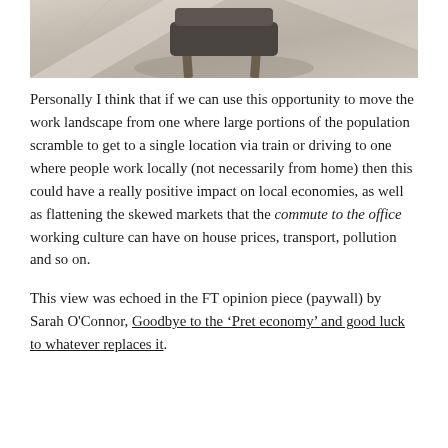[Figure (photo): Partial photo of a wooden chair on a patterned floor, cropped to show chair legs and seat from below]
Personally I think that if we can use this opportunity to move the work landscape from one where large portions of the population scramble to get to a single location via train or driving to one where people work locally (not necessarily from home) then this could have a really positive impact on local economies, as well as flattening the skewed markets that the commute to the office working culture can have on house prices, transport, pollution and so on.
This view was echoed in the FT opinion piece (paywall) by Sarah O'Connor, Goodbye to the ‘Pret economy’ and good luck to whatever replaces it.